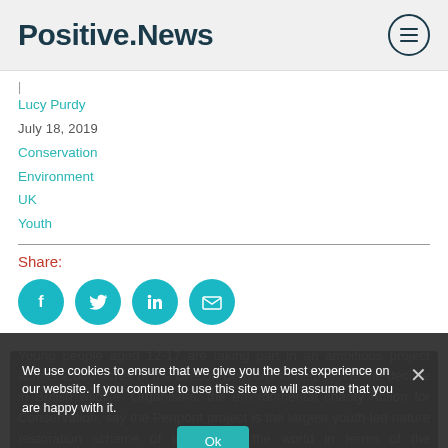Positive.News
Lucy Purdy
July 18, 2019
Conservation
Environment
UK
Youth
Share:
[Figure (infographic): Four social share buttons: Facebook, Twitter, LinkedIn, Email — teal circular icons]
Young people aged 12-17 are taking part in an ambitious project across 2,000 acres of the Brecon Beacons to help tackle the decline in British wildlife. Organisers, the environmental charity Action for Conservation, say the Penpont project is the largest youth-led nature restoration scheme of its kind in the world in terms of the geographical area covered.
We use cookies to ensure that we give you the best experience on our website. If you continue to use this site we will assume that you are happy with it. Ok